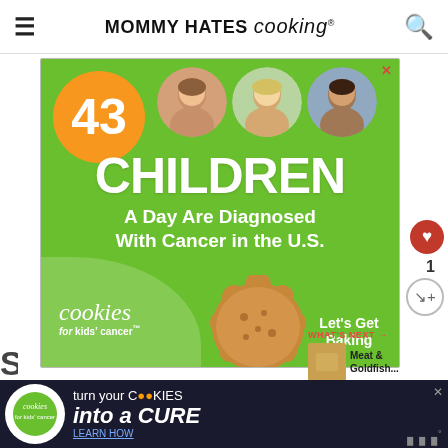MOMMY HATES cooking®
[Figure (infographic): Advertisement for Cookies for Kids Cancer. Green background with orange circle showing '43', three children's photos in circles, large white text: '43 CHILDREN A Day Are Diagnosed With Cancer in the U.S.' Cookies for kids' cancer logo and 'Let's Get Baking' text with cookie image.]
[Figure (infographic): Bottom banner ad: Cookies for Kids Cancer - 'turn your COOKIES into a CURE LEARN HOW' on dark background.]